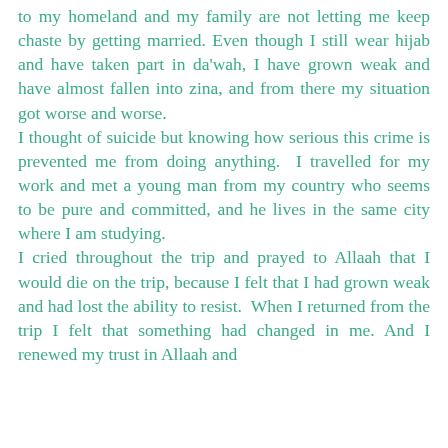to my homeland and my family are not letting me keep chaste by getting married. Even though I still wear hijab and have taken part in da'wah, I have grown weak and have almost fallen into zina, and from there my situation got worse and worse. I thought of suicide but knowing how serious this crime is prevented me from doing anything. I travelled for my work and met a young man from my country who seems to be pure and committed, and he lives in the same city where I am studying. I cried throughout the trip and prayed to Allaah that I would die on the trip, because I felt that I had grown weak and had lost the ability to resist. When I returned from the trip I felt that something had changed in me. And I renewed my trust in Allaah and